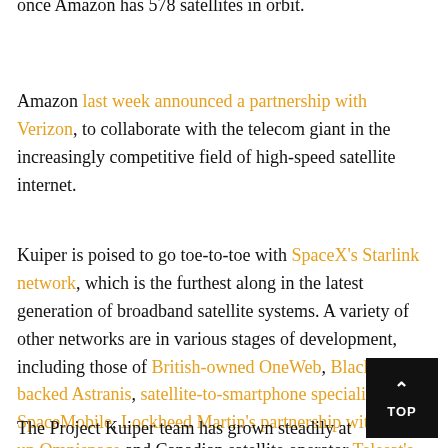once Amazon has 578 satellites in orbit.
Amazon last week announced a partnership with Verizon, to collaborate with the telecom giant in the increasingly competitive field of high-speed satellite internet.
Kuiper is poised to go toe-to-toe with SpaceX's Starlink network, which is the furthest along in the latest generation of broadband satellite systems. A variety of other networks are in various stages of development, including those of British-owned OneWeb, BlackRock-backed Astranis, satellite-to-smartphone specialist AST SpaceMobile, Lockheed Martin's partnership with start-up Omnispace and Canadian satellite operator Telesat's Lightspeed.
The Project Kuiper team has grown steadily at